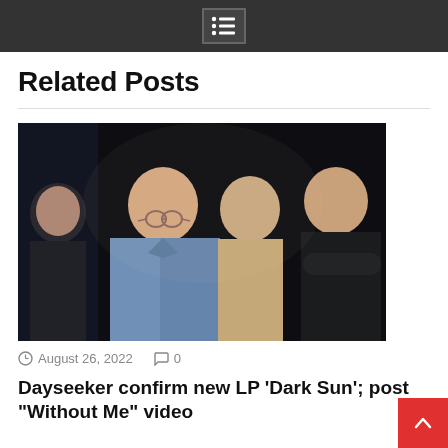navigation menu icon
Related Posts
[Figure (photo): Band photo of Dayseeker — four young men posed against a dark black background. The central figure wears a denim jacket and glasses. Others wear dark sweaters and a tan jacket.]
August 26, 2022   0
Dayseeker confirm new LP ‘Dark Sun’; post “Without Me” video